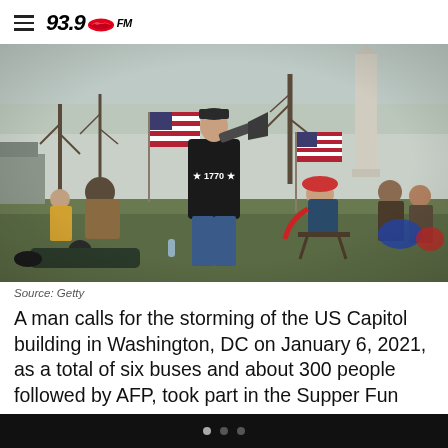93.9 WKYS
[Figure (photo): A man with a megaphone wearing a '1770' black shirt stands on a grass field with American flags and the Washington Monument in the background, surrounded by people in winter clothing, January 6, 2021]
Source: Getty
A man calls for the storming of the US Capitol building in Washington, DC on January 6, 2021, as a total of six buses and about 300 people followed by AFP, took part in the Supper Fun